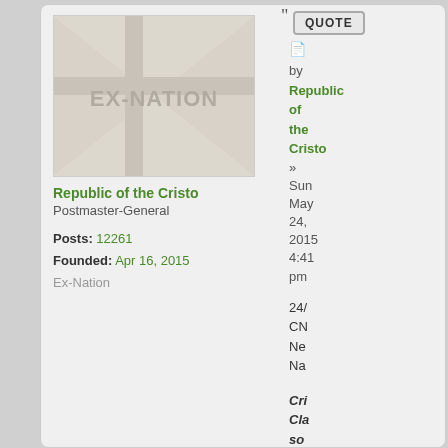[Figure (photo): Avatar image with 'EX-NATION' text on grey/beige background with diagonal cross shape]
Republic of the Cristo
Postmaster-General
Posts: 12261
Founded: Apr 16, 2015
Ex-Nation
QUOTE
by Republic of the Cristo
» Sun May 24, 2015 4:41 pm
24/ CN Ne Na
Cri Cla so lan
Th Cri co ha